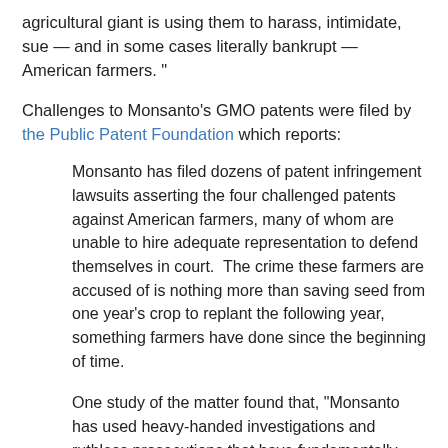agricultural giant is using them to harass, intimidate, sue — and in some cases literally bankrupt — American farmers. "
Challenges to Monsanto's GMO patents were filed by the Public Patent Foundation which reports:
Monsanto has filed dozens of patent infringement lawsuits asserting the four challenged patents against American farmers, many of whom are unable to hire adequate representation to defend themselves in court.  The crime these farmers are accused of is nothing more than saving seed from one year's crop to replant the following year, something farmers have done since the beginning of time.
One study of the matter found that, "Monsanto has used heavy-handed investigations and ruthless prosecutions that have fundamentally changed the way many American farmers farm. The result has been nothing less than an assault on the foundations of farming practices and